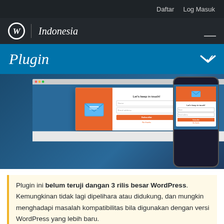Daftar   Log Masuk
WordPress | Indonesia
Plugin
[Figure (screenshot): Screenshot of a WordPress email subscription plugin popup showing 'Let's keep in touch!' modal with name and email fields and a Subscribe button in orange, displayed on desktop and mobile devices.]
Plugin ini belum teruji dangan 3 rilis besar WordPress. Kemungkinan tidak lagi dipelihara atau didukung, dan mungkin menghadapi masalah kompatibilitas bila digunakan dengan versi WordPress yang lebih baru.